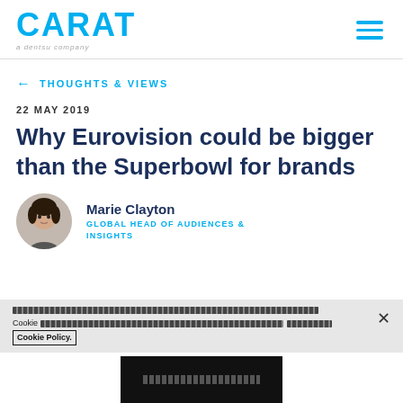CARAT — a dentsu company
← THOUGHTS & VIEWS
22 MAY 2019
Why Eurovision could be bigger than the Superbowl for brands
Marie Clayton — GLOBAL HEAD OF AUDIENCES & INSIGHTS
Cookie Policy.